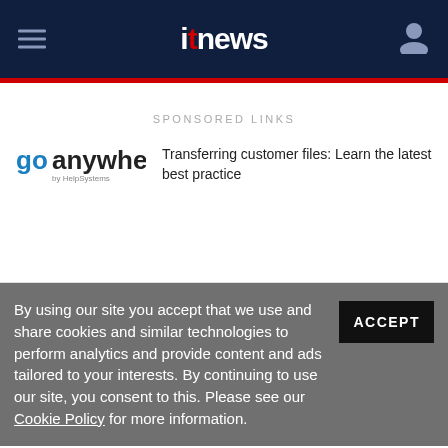itnews
SPONSORED LINKS
[Figure (logo): GoAnywhere by HelpSystems logo — blue and gray wordmark]
Transferring customer files: Learn the latest best practice
By using our site you accept that we use and share cookies and similar technologies to perform analytics and provide content and ads tailored to your interests. By continuing to use our site, you consent to this. Please see our Cookie Policy for more information.